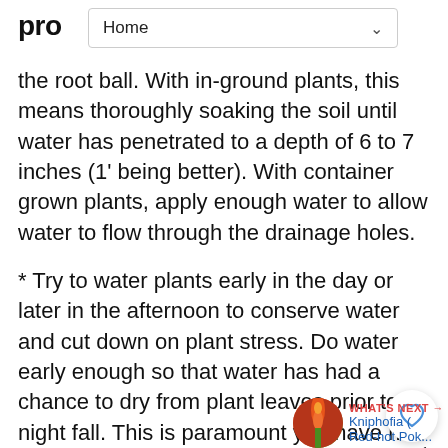pro Home
the root ball. With in-ground plants, this means thoroughly soaking the soil until water has penetrated to a depth of 6 to 7 inches (1' being better). With container grown plants, apply enough water to allow water to flow through the drainage holes.
* Try to water plants early in the day or later in the afternoon to conserve water and cut down on plant stress. Do water early enough so that water has had a chance to dry from plant leaves prior to night fall. This is paramount you have had fungus problems.
* Don't wait to water until plants wilt. Although